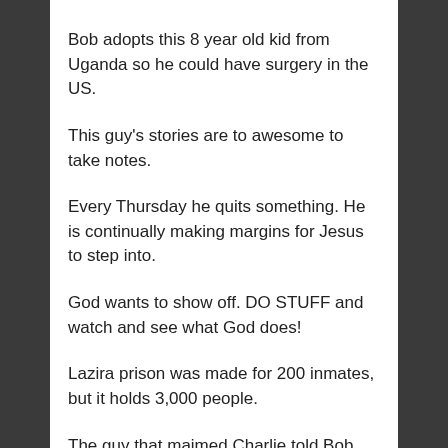Bob adopts this 8 year old kid from Uganda so he could have surgery in the US.
This guy's stories are to awesome to take notes.
Every Thursday he quits something. He is continually making margins for Jesus to step into.
God wants to show off. DO STUFF and watch and see what God does!
Lazira prison was made for 200 inmates, but it holds 3,000 people.
The guy that maimed Charlie told Bob that he needed forgiveness. "I am going to die in this